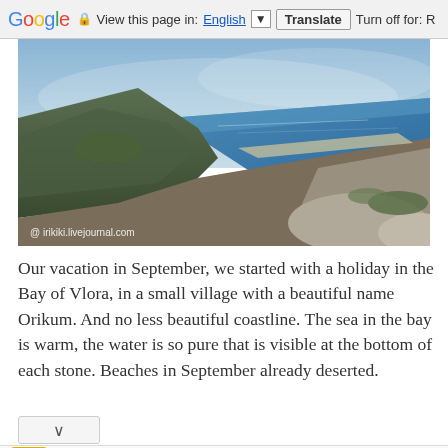Google  View this page in: English [▼]  Translate  Turn off for: R
[Figure (photo): Aerial/elevated view of the Bay of Vlora coastline in Albania showing mountainous terrain with the sea in the background, blue sky with hazy clouds. Watermark: @ irikiki.livejournal.com]
Our vacation in September, we started with a holiday in the Bay of Vlora, in a small village with a beautiful name Orikum. And no less beautiful coastline. The sea in the bay is warm, the water is so pure that is visible at the bottom of each stone. Beaches in September already deserted.
[Figure (infographic): Advertisement: Hair Cuttery - Book a Same Day Appointment. HC logo in yellow square, navigation/directions diamond icon in blue.]